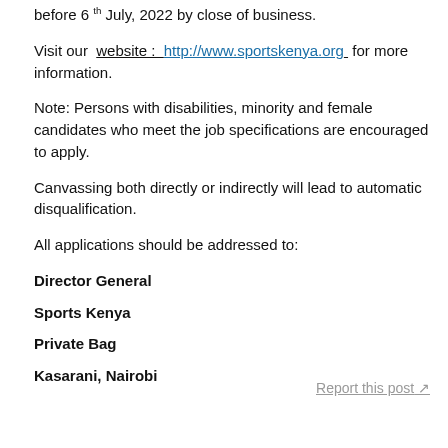before 6th July, 2022 by close of business.
Visit our website : http://www.sportskenya.org for more information.
Note: Persons with disabilities, minority and female candidates who meet the job specifications are encouraged to apply.
Canvassing both directly or indirectly will lead to automatic disqualification.
All applications should be addressed to:
Director General
Sports Kenya
Private Bag
Kasarani, Nairobi
Report this post